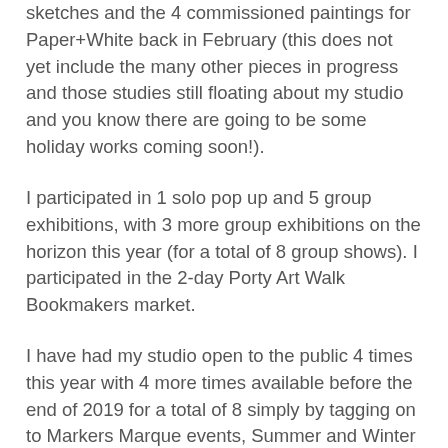sketches and the 4 commissioned paintings for Paper+White back in February (this does not yet include the many other pieces in progress and those studies still floating about my studio and you know there are going to be some holiday works coming soon!).
I participated in 1 solo pop up and 5 group exhibitions, with 3 more group exhibitions on the horizon this year (for a total of 8 group shows). I participated in the 2-day Porty Art Walk Bookmakers market.
I have had my studio open to the public 4 times this year with 4 more times available before the end of 2019 for a total of 8 simply by tagging on to Markers Marque events, Summer and Winter Arts Markets at the Drill Hall.
I have recorded 43 Tuesday Studio Video Visits and